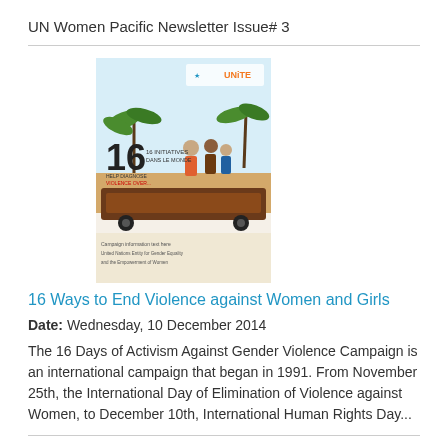UN Women Pacific Newsletter Issue# 3
[Figure (illustration): Poster for 16 Days of Activism against Gender Violence Campaign showing palm trees, figures, and a vehicle with text '16' prominently displayed, UNiTE logo at top.]
16 Ways to End Violence against Women and Girls
Date: Wednesday, 10 December 2014
The 16 Days of Activism Against Gender Violence Campaign is an international campaign that began in 1991. From November 25th, the International Day of Elimination of Violence against Women, to December 10th, International Human Rights Day...
[Figure (photo): Photo showing women/people faces, partially visible at the bottom of the page.]